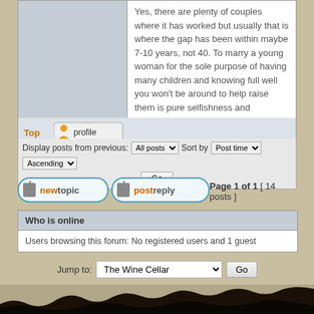Yes, there are plenty of couples where it has worked but usually that is where the gap has been within maybe 7-10 years, not 40. To marry a young woman for the sole purpose of having many children and knowing full well you won't be around to help raise them is pure selfishness and narcissism.
Top
[Figure (screenshot): Profile button with user icon]
Display posts from previous: All posts  Sort by Post time  Ascending  Go
[Figure (screenshot): New topic button]
[Figure (screenshot): Post reply button]
Page 1 of 1  [ 14 posts ]
Who is online
Users browsing this forum: No registered users and 1 guest
Jump to:  The Wine Cellar  Go